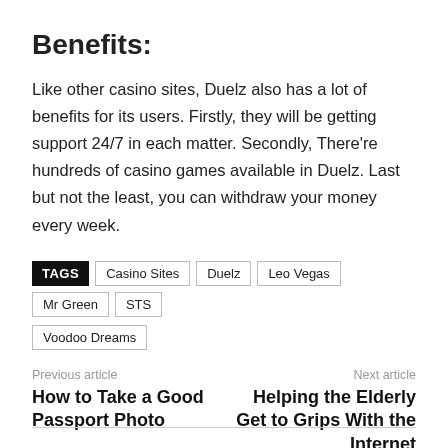Benefits:
Like other casino sites, Duelz also has a lot of benefits for its users. Firstly, they will be getting support 24/7 in each matter. Secondly, There're hundreds of casino games available in Duelz. Last but not the least, you can withdraw your money every week.
TAGS  Casino Sites  Duelz  Leo Vegas  Mr Green  STS  Voodoo Dreams
Previous article
How to Take a Good Passport Photo
Next article
Helping the Elderly Get to Grips With the Internet